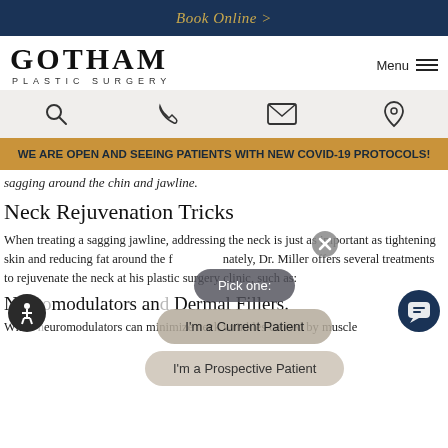Book Online >
[Figure (logo): Gotham Plastic Surgery logo with Menu hamburger button]
[Figure (infographic): Icon bar with search, phone, email, and location icons]
WE ARE OPEN AND SEEING PATIENTS WITH NEW COVID-19 PROTOCOLS!
sagging around the chin and jawline.
Neck Rejuvenation Tricks
When treating a sagging jawline, addressing the neck is just as important as tightening skin and reducing fat around the face. Fortunately, Dr. Miller offers several treatments to rejuvenate the neck at his plastic surgery clinic, such as:
Neuromodulators and Dermal Fillers.
While neuromodulators can minimize neck wrinkles caused by muscle